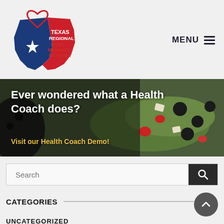[Figure (logo): Texas Regional Data Managers Network logo — Texas state shape in red/blue with white star, red heart outline, text overlay]
MENU ≡
[Figure (photo): Banner photo of a fresh salad with olives, strawberries, and greens with dark overlay]
Ever wondered what a Health Coach does?
Visit our Health Coach Demo!
Search
CATEGORIES
UNCATEGORIZED